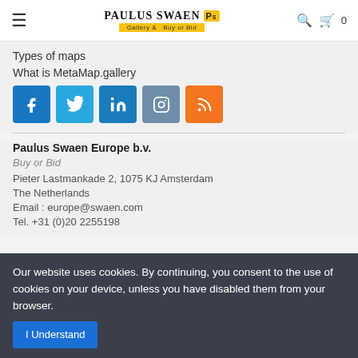Paulus Swaen Gallery & Buy or Bid
Types of maps
What is MetaMap.gallery
[Figure (infographic): Social media buttons: Facebook (blue), Twitter (light blue), LinkedIn (blue), Instagram (slate blue), RSS (orange)]
Paulus Swaen Europe b.v.
Buy or Bid
Pieter Lastmankade 2, 1075 KJ Amsterdam
The Netherlands
Email : europe@swaen.com
Tel. +31 (0)20 2255198
Our website uses cookies. By continuing, you consent to the use of cookies on your device, unless you have disabled them from your browser. I Understand